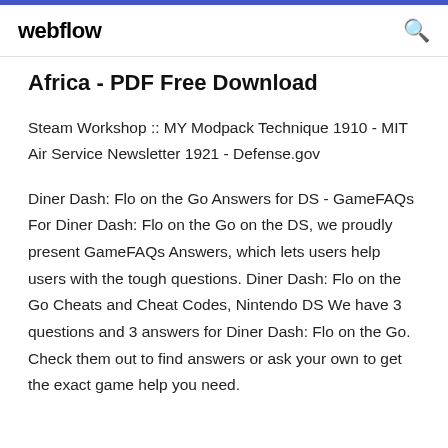webflow
Africa - PDF Free Download
Steam Workshop :: MY Modpack Technique 1910 - MIT Air Service Newsletter 1921 - Defense.gov
Diner Dash: Flo on the Go Answers for DS - GameFAQs For Diner Dash: Flo on the Go on the DS, we proudly present GameFAQs Answers, which lets users help users with the tough questions. Diner Dash: Flo on the Go Cheats and Cheat Codes, Nintendo DS We have 3 questions and 3 answers for Diner Dash: Flo on the Go. Check them out to find answers or ask your own to get the exact game help you need.